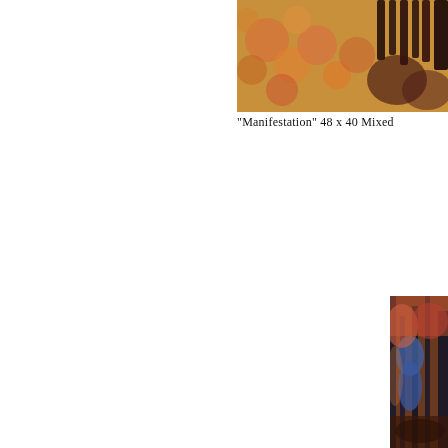[Figure (illustration): Partial view of a painting with warm tones of orange, red, and dark abstract shapes — top portion of 'Manifestation' artwork, cropped at right edge]
"Manifestation" 48 x 40 Mixed
[Figure (illustration): Partial view of a painting showing a figure in blue against a background of red-orange and brown tones with dark vertical tree-like forms — lower right portion of page, cropped]